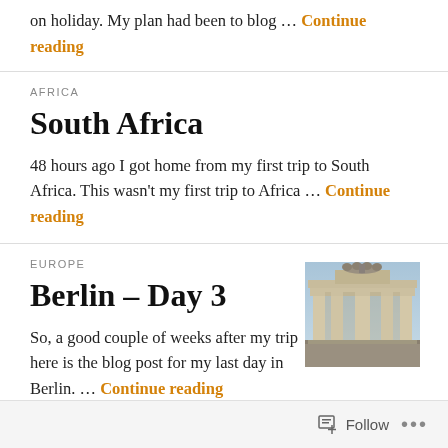on holiday. My plan had been to blog … Continue reading
AFRICA
South Africa
48 hours ago I got home from my first trip to South Africa. This wasn't my first trip to Africa … Continue reading
EUROPE
Berlin – Day 3
[Figure (photo): Photograph of the Brandenburg Gate in Berlin, with sky above]
So, a good couple of weeks after my trip here is the blog post for my last day in Berlin. … Continue reading
Follow ...